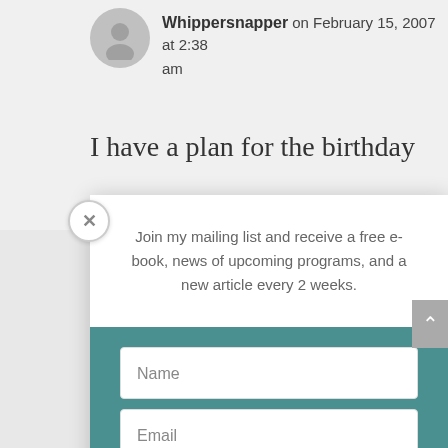Whippersnapper on February 15, 2007 at 2:38 am
I have a plan for the birthday
Join my mailing list and receive a free e-book, news of upcoming programs, and a new article every 2 weeks.
Name
Email
Subscribe